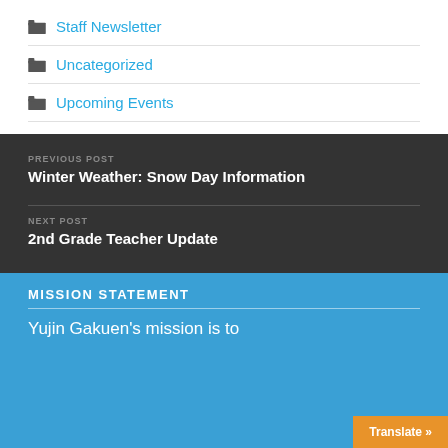Staff Newsletter
Uncategorized
Upcoming Events
PREVIOUS POST
Winter Weather: Snow Day Information
NEXT POST
2nd Grade Teacher Update
MISSION STATEMENT
Yujin Gakuen's mission is to